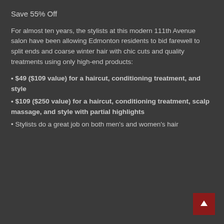Save 55% Off
For almost ten years, the stylists at this modern 111th Avenue salon have been allowing Edmonton residents to bid farewell to split ends and coarse winter hair with chic cuts and quality treatments using only high-end products:
$49 ($109 value) for a haircut, conditioning treatment, and style
$109 ($250 value) for a haircut, conditioning treatment, scalp massage, and style with partial highlights
Stylists do a great job on both men's and women's hair